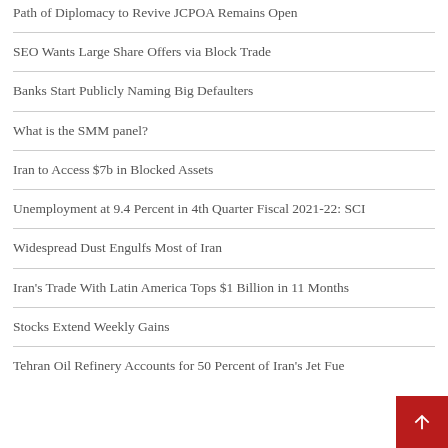Path of Diplomacy to Revive JCPOA Remains Open
SEO Wants Large Share Offers via Block Trade
Banks Start Publicly Naming Big Defaulters
What is the SMM panel?
Iran to Access $7b in Blocked Assets
Unemployment at 9.4 Percent in 4th Quarter Fiscal 2021-22: SCI
Widespread Dust Engulfs Most of Iran
Iran's Trade With Latin America Tops $1 Billion in 11 Months
Stocks Extend Weekly Gains
Tehran Oil Refinery Accounts for 50 Percent of Iran's Jet Fue…